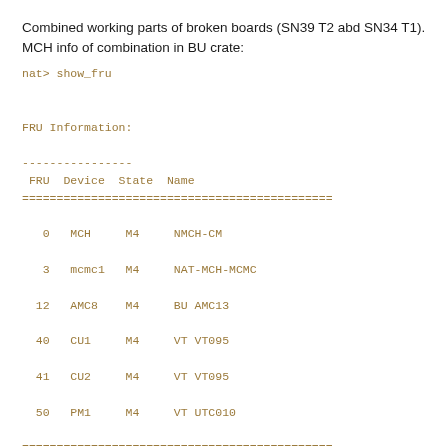Combined working parts of broken boards (SN39 T2 abd SN34 T1). MCH info of combination in BU crate:
nat> show_fru

FRU Information:

----------------
 FRU  Device  State  Name
=============================================
   0   MCH     M4     NMCH-CM
   3   mcmc1   M4     NAT-MCH-MCMC
  12   AMC8    M4     BU AMC13
  40   CU1     M4     VT VT095
  41   CU2     M4     VT VT095
  50   PM1     M4     VT UTC010
=============================================
nat> show_sensorinfo 12
Sensor Information for AMC 8
=================================================================
  #   SDRType  Sensor  Entity  Inst  Value   State  Name
-----------------------------------------------------------------
  0   MDevLoc           0xc1   0x68                 BU AMC1